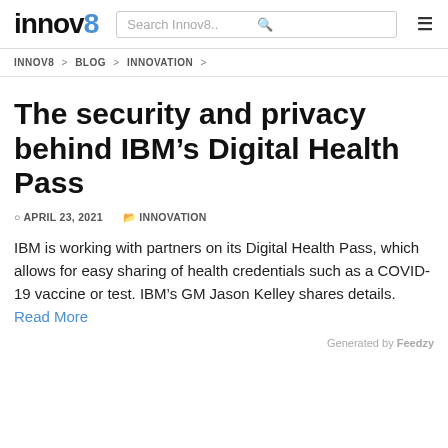innov8 | Search Innov8..
INNOV8 > BLOG > INNOVATION >
The security and privacy behind IBM’s Digital Health Pass
APRIL 23, 2021 | INNOVATION
IBM is working with partners on its Digital Health Pass, which allows for easy sharing of health credentials such as a COVID-19 vaccine or test. IBM’s GM Jason Kelley shares details. Read More
Generated by Feedzy